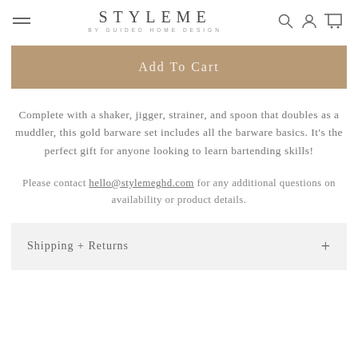STYLEME BY GUIDED HOME DESIGN
Add To Cart
Complete with a shaker, jigger, strainer, and spoon that doubles as a muddler, this gold barware set includes all the barware basics. It's the perfect gift for anyone looking to learn bartending skills!
Please contact hello@stylemeghd.com for any additional questions on availability or product details.
Shipping + Returns